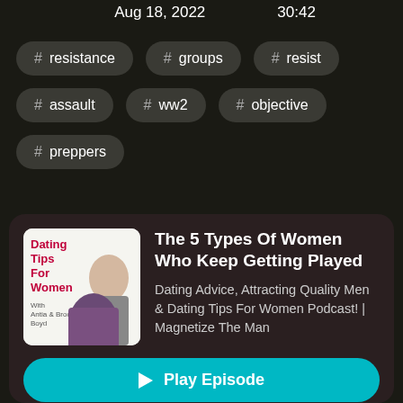Aug 18, 2022   30:42
# resistance
# groups
# resist
# assault
# ww2
# objective
# preppers
The 5 Types Of Women Who Keep Getting Played
Dating Advice, Attracting Quality Men & Dating Tips For Women Podcast! | Magnetize The Man
▶ Play Episode